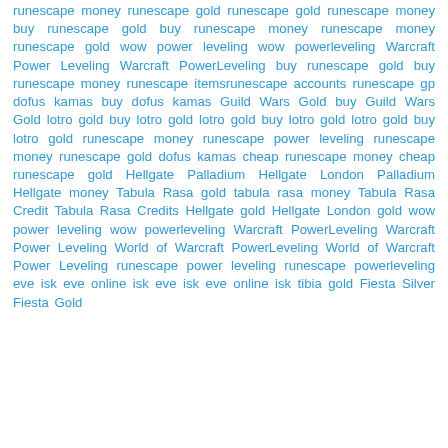runescape money runescape gold runescape gold runescape money buy runescape gold buy runescape money runescape money runescape gold wow power leveling wow powerleveling Warcraft Power Leveling Warcraft PowerLeveling buy runescape gold buy runescape money runescape itemsrunescape accounts runescape gp dofus kamas buy dofus kamas Guild Wars Gold buy Guild Wars Gold lotro gold buy lotro gold lotro gold buy lotro gold lotro gold buy lotro gold runescape money runescape power leveling runescape money runescape gold dofus kamas cheap runescape money cheap runescape gold Hellgate Palladium Hellgate London Palladium Hellgate money Tabula Rasa gold tabula rasa money Tabula Rasa Credit Tabula Rasa Credits Hellgate gold Hellgate London gold wow power leveling wow powerleveling Warcraft PowerLeveling Warcraft Power Leveling World of Warcraft PowerLeveling World of Warcraft Power Leveling runescape power leveling runescape powerleveling eve isk eve online isk eve isk eve online isk tibia gold Fiesta Silver Fiesta Gold